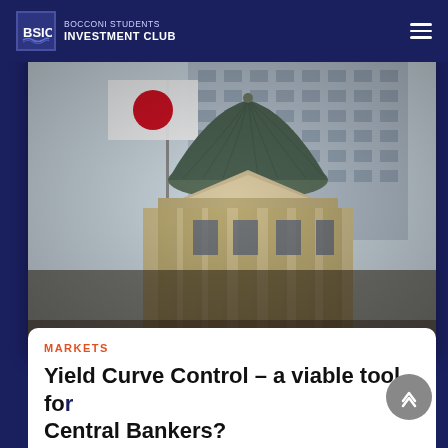BOCCONI STUDENTS INVESTMENT CLUB
[Figure (photo): Photograph of the Bank of Japan building exterior with the Japanese flag (Hinomaru) flying in the foreground. The building features a green dome roof and classical architectural details. A modern office building is visible in the background.]
MARKETS
Yield Curve Control – a viable tool for Central Bankers?